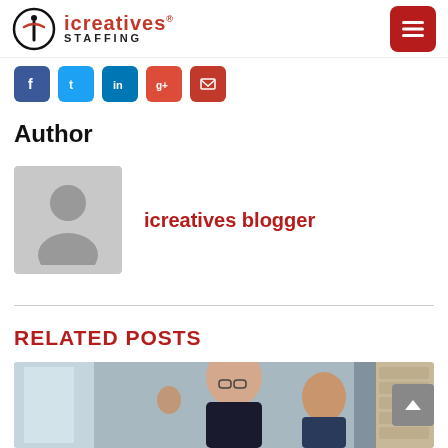icreatives STAFFING [logo] [menu button]
[Figure (infographic): Social media share icons row: Facebook (blue), Twitter (blue), LinkedIn (blue), Google+ (red), Email (red)]
Author
[Figure (illustration): Default user avatar placeholder (grey silhouette on grey background)]
icreatives blogger
RELATED POSTS
[Figure (photo): Two men laughing/smiling in an office environment, one wearing glasses. Stone wall visible on the right.]